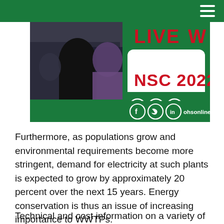[Figure (illustration): Advertisement banner for NSC 2022 Live event featuring crowd of people in background, bold red text 'LIVE' and 'NSC 2022', green background with social media icons (Facebook, Twitter, LinkedIn) and URL ohsonline.com/live]
Furthermore, as populations grow and environmental requirements become more stringent, demand for electricity at such plants is expected to grow by approximately 20 percent over the next 15 years. Energy conservation is thus an issue of increasing importance to WWTPs.
Technical and cost information on a variety of energy management techniques and new